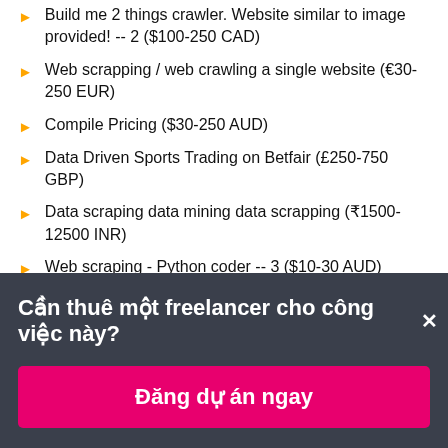Build me 2 things crawler. Website similar to image provided! -- 2 ($100-250 CAD)
Web scrapping / web crawling a single website (€30-250 EUR)
Compile Pricing ($30-250 AUD)
Data Driven Sports Trading on Betfair (£250-750 GBP)
Data scraping data mining data scrapping (₹1500-12500 INR)
Web scraping - Python coder -- 3 ($10-30 AUD)
Word automatation from jupyternotebook ($10-30 USD)
Source me data (₹1500-12500 INR)
Cần thuê một freelancer cho công việc này?×
Đăng dự án ngay